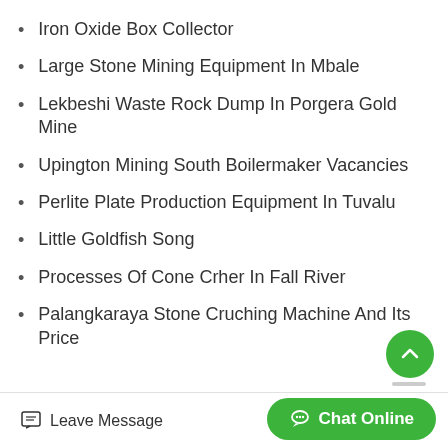Iron Oxide Box Collector
Large Stone Mining Equipment In Mbale
Lekbeshi Waste Rock Dump In Porgera Gold Mine
Upington Mining South Boilermaker Vacancies
Perlite Plate Production Equipment In Tuvalu
Little Goldfish Song
Processes Of Cone Crher In Fall River
Palangkaraya Stone Cruching Machine And Its Price
Leave Message  Chat Online